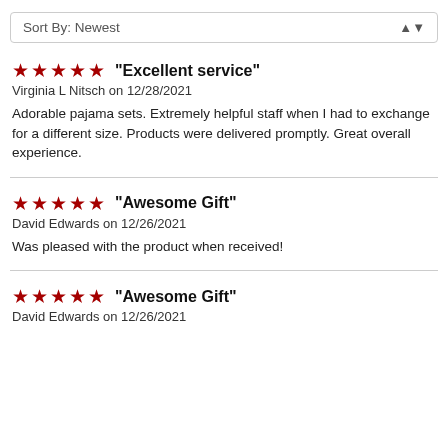Sort By: Newest
"Excellent service"
Virginia L Nitsch on 12/28/2021
Adorable pajama sets. Extremely helpful staff when I had to exchange for a different size. Products were delivered promptly. Great overall experience.
"Awesome Gift"
David Edwards on 12/26/2021
Was pleased with the product when received!
"Awesome Gift"
David Edwards on 12/26/2021